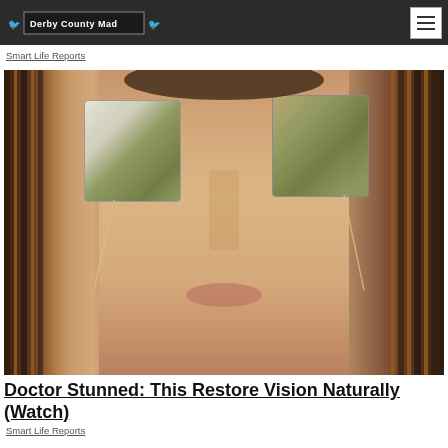Derby County Mad
Smart Life Reports
[Figure (photo): Woman lying down with two used green tea bags placed over her eyes, covering them. Dark striped background visible on sides. Close-up face shot.]
Doctor Stunned: This Restore Vision Naturally (Watch)
Smart Life Reports